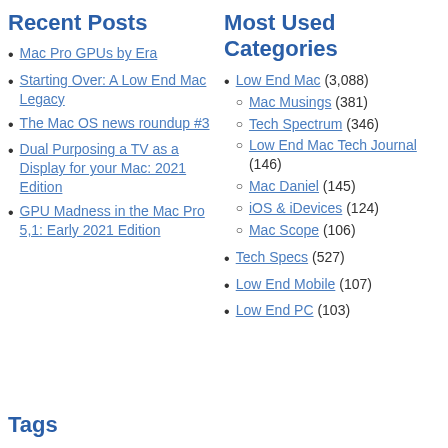Recent Posts
Mac Pro GPUs by Era
Starting Over: A Low End Mac Legacy
The Mac OS news roundup #3
Dual Purposing a TV as a Display for your Mac: 2021 Edition
GPU Madness in the Mac Pro 5,1: Early 2021 Edition
Most Used Categories
Low End Mac (3,088)
Mac Musings (381)
Tech Spectrum (346)
Low End Mac Tech Journal (146)
Mac Daniel (145)
iOS & iDevices (124)
Mac Scope (106)
Tech Specs (527)
Low End Mobile (107)
Low End PC (103)
Tags